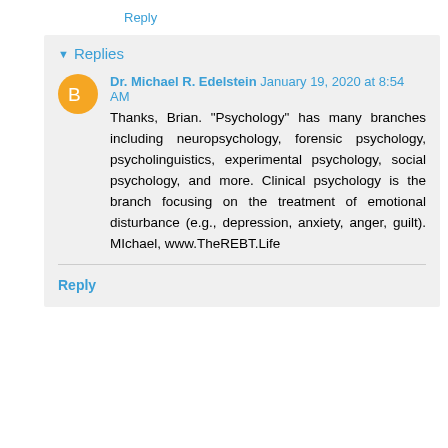Reply
▾ Replies
Dr. Michael R. Edelstein  January 19, 2020 at 8:54 AM
Thanks, Brian. "Psychology" has many branches including neuropsychology, forensic psychology, psycholinguistics, experimental psychology, social psychology, and more. Clinical psychology is the branch focusing on the treatment of emotional disturbance (e.g., depression, anxiety, anger, guilt). MIchael, www.TheREBT.Life
Reply